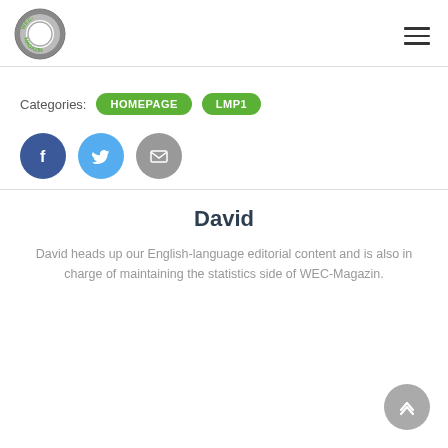WEC-Magazin logo and navigation menu
Categories: HOMEPAGE  LMP1
[Figure (infographic): Three social media icon buttons: Facebook (dark blue), Twitter (light blue), Email (gray)]
David
David heads up our English-language editorial content and is also in charge of maintaining the statistics side of WEC-Magazin.